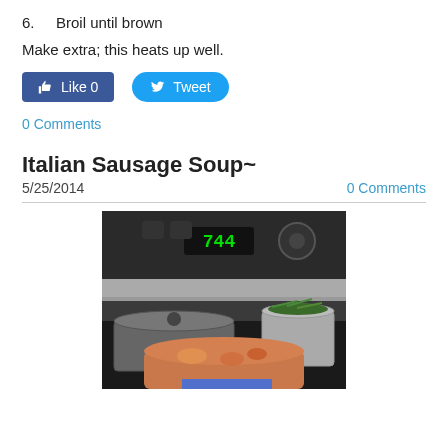6.    Broil until brown
Make extra; this heats up well.
[Figure (screenshot): Facebook Like button showing 0 likes and a Twitter Tweet button]
0 Comments
Italian Sausage Soup~
5/25/2014    0 Comments
[Figure (photo): Photo of a stove with a large pot of Italian sausage soup and a steamer basket with green beans, clock showing 7:44]